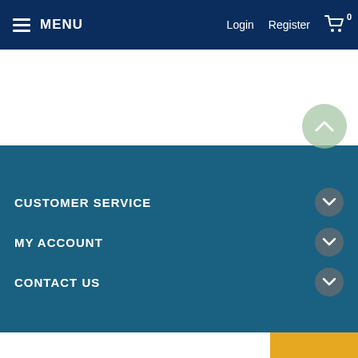MENU | Login | Register | Cart 0
CUSTOMER SERVICE
MY ACCOUNT
CONTACT US